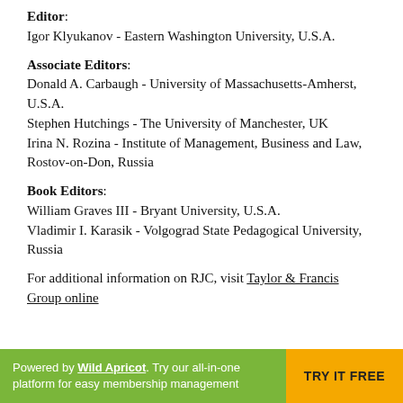Editor: Igor Klyukanov - Eastern Washington University, U.S.A.
Associate Editors: Donald A. Carbaugh - University of Massachusetts-Amherst, U.S.A. Stephen Hutchings - The University of Manchester, UK Irina N. Rozina - Institute of Management, Business and Law, Rostov-on-Don, Russia
Book Editors: William Graves III - Bryant University, U.S.A. Vladimir I. Karasik - Volgograd State Pedagogical University, Russia
For additional information on RJC, visit Taylor & Francis Group online
Powered by Wild Apricot. Try our all-in-one platform for easy membership management  TRY IT FREE